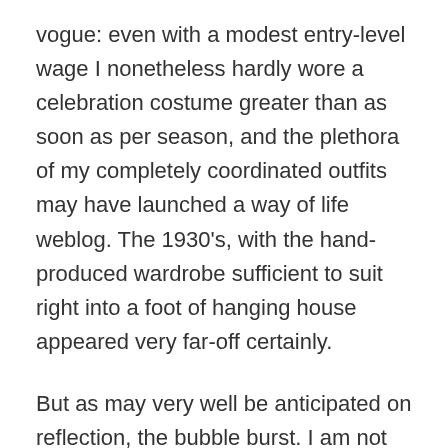vogue: even with a modest entry-level wage I nonetheless hardly wore a celebration costume greater than as soon as per season, and the plethora of my completely coordinated outfits may have launched a way of life weblog. The 1930's, with the hand-produced wardrobe sufficient to suit right into a foot of hanging house appeared very far-off certainly.
But as may very well be anticipated on reflection, the bubble burst. I am not totally positive but if it was the publicity to the socially conscious and progressive spirit of Cambridge, the monetary disaster of 2008 and the recession that adopted, or the better consciousness of the world that grew from my habit to the iPhone and all of the information/blogs apps. The countless selections of soppy printed shirts, ruffled